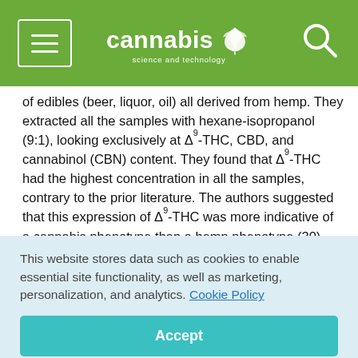cannabis science and technology
of edibles (beer, liquor, oil) all derived from hemp. They extracted all the samples with hexane-isopropanol (9:1), looking exclusively at Δ9-THC, CBD, and cannabinol (CBN) content. They found that Δ9-THC had the highest concentration in all the samples, contrary to the prior literature. The authors suggested that this expression of Δ9-THC was more indicative of a cannabis phenotype than a hemp phenotype (30).
[Figure (screenshot): Advertisement banner for Cannabis Science and Technology: 'Advancing research, quality and education']
This website stores data such as cookies to enable essential site functionality, as well as marketing, personalization, and analytics. Cookie Policy
Accept
Deny